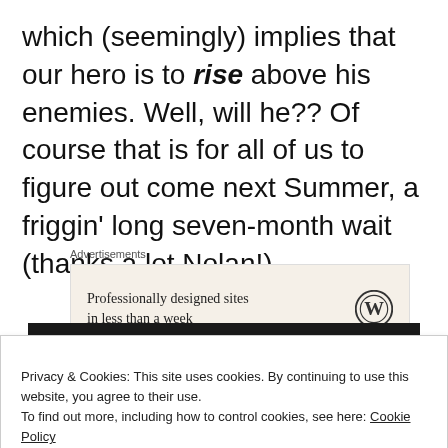which (seemingly) implies that our hero is to rise above his enemies. Well, will he?? Of course that is for all of us to figure out come next Summer, a friggin' long seven-month wait (thanks a lot Nolan!)
Advertisements
[Figure (other): WordPress advertisement banner: 'Professionally designed sites in less than a week' with WordPress logo]
Privacy & Cookies: This site uses cookies. By continuing to use this website, you agree to their use.
To find out more, including how to control cookies, see here: Cookie Policy
Close and accept